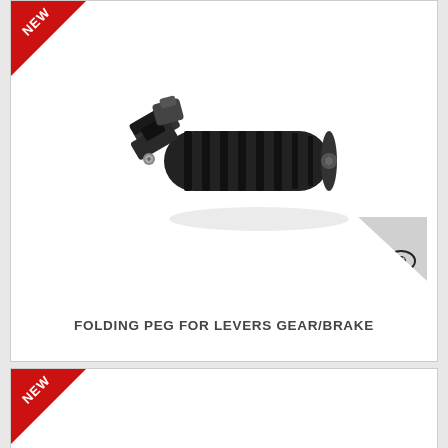[Figure (photo): A folding peg for levers gear/brake — a black cylindrical ribbed motorcycle footpeg with a hinged metal clamp at one end and a hex bolt end cap, shown on a white background with a subtle reflection. A 'NEW' red ribbon is shown in the top-left corner. A grey triangle with an eye icon is in the bottom-right.]
FOLDING PEG FOR LEVERS GEAR/BRAKE
[Figure (photo): Partial view of a second product card with a 'NEW' red ribbon in the top-left corner, cut off at the bottom of the page.]